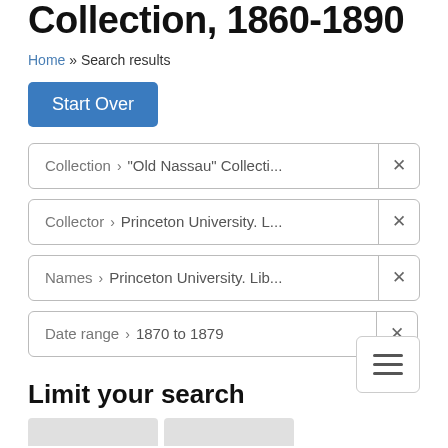Collection, 1860-1890
Home » Search results
Start Over
Collection › "Old Nassau" Collecti...  ✕
Collector › Princeton University. L...  ✕
Names › Princeton University. Lib...  ✕
Date range › 1870 to 1879  ✕
Limit your search
1 entry found